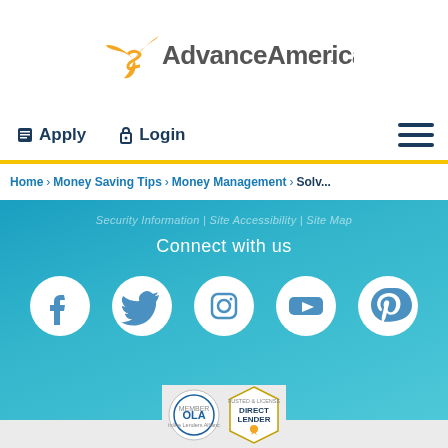[Figure (logo): Advance America logo with golden bird icon and dark gray text]
Apply  Login
Home > Money Saving Tips > Money Management > Solv...
Security Information | Site Accessibility | Site Map
Connect with us
[Figure (illustration): Social media icons: Facebook, Twitter, Instagram, YouTube, Pinterest — white icons on teal gradient background]
[Figure (logo): OLA member badge and Direct Lender trust badge]
© 2022 AARC, LLC. All Rights Reserved.
Terms & Other Conditions